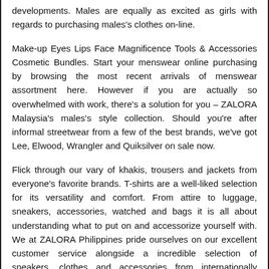developments. Males are equally as excited as girls with regards to purchasing males's clothes on-line.
Make-up Eyes Lips Face Magnificence Tools & Accessories Cosmetic Bundles. Start your menswear online purchasing by browsing the most recent arrivals of menswear assortment here. However if you are actually so overwhelmed with work, there's a solution for you – ZALORA Malaysia's males's style collection. Should you're after informal streetwear from a few of the best brands, we've got Lee, Elwood, Wrangler and Quiksilver on sale now.
Flick through our vary of khakis, trousers and jackets from everyone's favorite brands. T-shirts are a well-liked selection for its versatility and comfort. From attire to luggage, sneakers, accessories, watched and bags it is all about understanding what to put on and accessorize yourself with. We at ZALORA Philippines pride ourselves on our excellent customer service alongside a incredible selection of sneakers, clothes and accessories from internationally famous labels.